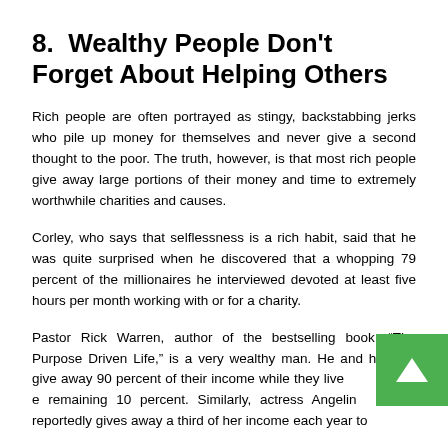8. Wealthy People Don't Forget About Helping Others
Rich people are often portrayed as stingy, backstabbing jerks who pile up money for themselves and never give a second thought to the poor. The truth, however, is that most rich people give away large portions of their money and time to extremely worthwhile charities and causes.
Corley, who says that selflessness is a rich habit, said that he was quite surprised when he discovered that a whopping 79 percent of the millionaires he interviewed devoted at least five hours per month working with or for a charity.
Pastor Rick Warren, author of the bestselling book, “The Purpose Driven Life,” is a very wealthy man. He and his wife give away 90 percent of their income while they live on the remaining 10 percent. Similarly, actress Angelina Jolie reportedly gives away a third of her income each year to